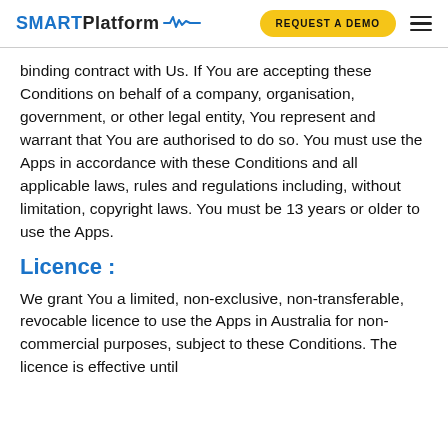SMART Platform | REQUEST A DEMO
binding contract with Us. If You are accepting these Conditions on behalf of a company, organisation, government, or other legal entity, You represent and warrant that You are authorised to do so. You must use the Apps in accordance with these Conditions and all applicable laws, rules and regulations including, without limitation, copyright laws. You must be 13 years or older to use the Apps.
Licence :
We grant You a limited, non-exclusive, non-transferable, revocable licence to use the Apps in Australia for non-commercial purposes, subject to these Conditions. The licence is effective until